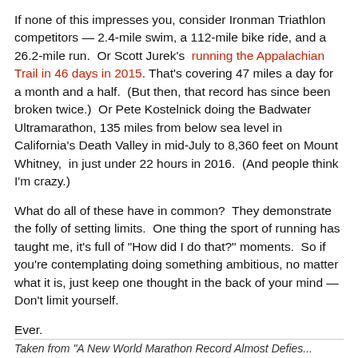If none of this impresses you, consider Ironman Triathlon competitors — 2.4-mile swim, a 112-mile bike ride, and a 26.2-mile run.  Or Scott Jurek's  running the Appalachian Trail in 46 days in 2015. That's covering 47 miles a day for a month and a half.  (But then, that record has since been broken twice.)  Or Pete Kostelnick doing the Badwater Ultramarathon, 135 miles from below sea level in California's Death Valley in mid-July to 8,360 feet on Mount Whitney,  in just under 22 hours in 2016.  (And people think I'm crazy.)
What do all of these have in common?  They demonstrate the folly of setting limits.  One thing the sport of running has taught me, it's full of "How did I do that?" moments.  So if you're contemplating doing something ambitious, no matter what it is, just keep one thought in the back of your mind — Don't limit yourself.
Ever.
Taken from "A New World Marathon Record Almost Defies...